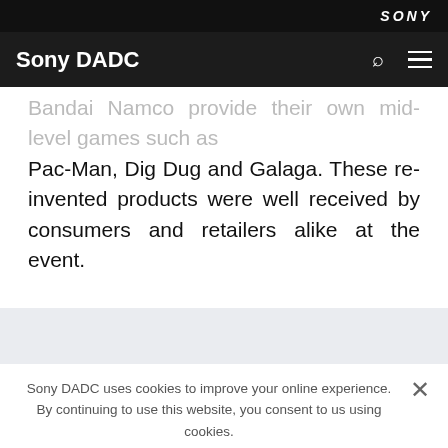SONY
Sony DADC
…Bandai Namco provide their own mid-level games such as Pac-Man, Dig Dug and Galaga. These re-invented products were well received by consumers and retailers alike at the event.
Sony DADC uses cookies to improve your online experience. By continuing to use this website, you consent to us using cookies.
For information on the cookies used and for details on how your personal information is processed, please read our Privacy Statement and Cookie Policy.